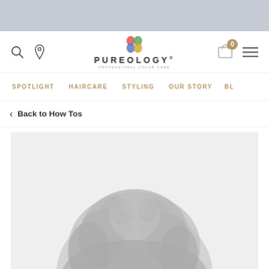[Figure (screenshot): Top gray decorative bar]
Pureology Professional Color Care - website header with search, location, logo, cart (0), and menu icons
SPOTLIGHT  HAIRCARE  STYLING  OUR STORY  BL...
< Back to How Tos
[Figure (photo): A person's silhouette with dark wavy/curly hair shown from behind on a light gray background, partially visible]